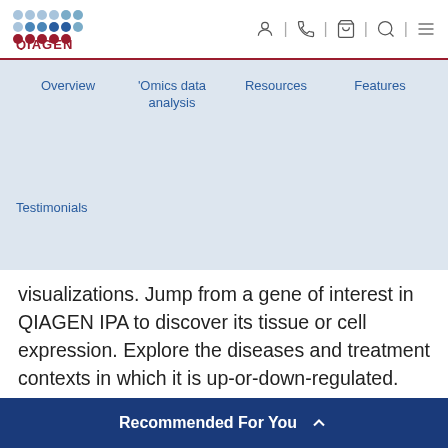[Figure (logo): QIAGEN logo with blue dot grid and red text]
Navigation icons: person, phone, cart, search, menu
Overview | 'Omics data analysis | Resources | Features
Testimonials
visualizations. Jump from a gene of interest in QIAGEN IPA to discover its tissue or cell expression. Explore the diseases and treatment contexts in which it is up-or-down-regulated. Visualize how mutations correlate with changes in expression, the effect of mutations on clinical outcomes and much more. Access to OmicSoft Land
Recommended For You